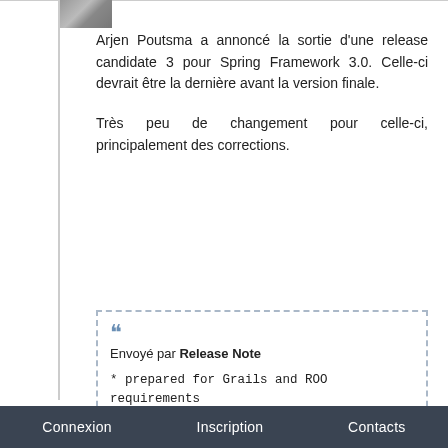[Figure (photo): Small avatar/profile photo thumbnail at top left]
Arjen Poutsma a annoncé la sortie d'une release candidate 3 pour Spring Framework 3.0. Celle-ci devrait être la dernière avant la version finale.
Très peu de changement pour celle-ci, principalement des corrections.
Envoyé par Release Note
* prepared for Grails and ROO requirements
* restored compatibility with Apache CXF
* fixed bean definition import via "classpath*:" URLs
* added chaining-capable "add" method to MutablePropertyValues
* constructor arguments can be overridden by name in child bean definitions
* BeanDefinitions return isSingleton()=true by default again, with scope name empty
* init/destroy methods get processed in the order of declaration at each hierarchy level
* fixed lookup of LifecycleProcessor bean in a Spring Dynamic Modules environment
Connexion   Inscription   Contacts